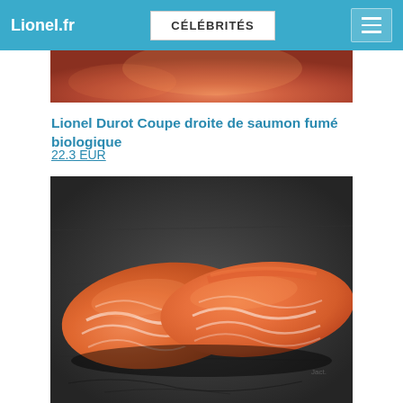Lionel.fr | CÉLÉBRITÉS
[Figure (photo): Partial top view of a reddish-orange food item, cropped at top]
Lionel Durot Coupe droite de saumon fumé biologique
22.3 EUR
[Figure (photo): Close-up photo of sliced smoked organic salmon pieces arranged on a dark slate surface, showing orange-pink color with white fat marbling lines]